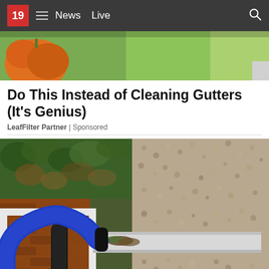19  News  Live
[Figure (photo): Partial top image showing orange pumpkin/gourd on left and green grass on right, cropped at top of page]
Do This Instead of Cleaning Gutters (It's Genius)
LeafFilter Partner | Sponsored
[Figure (photo): Close-up photo of a blue flexible vacuum hose attachment being used to clean debris from a roof gutter, with brick wall and stone/pebbledash exterior wall visible in background]